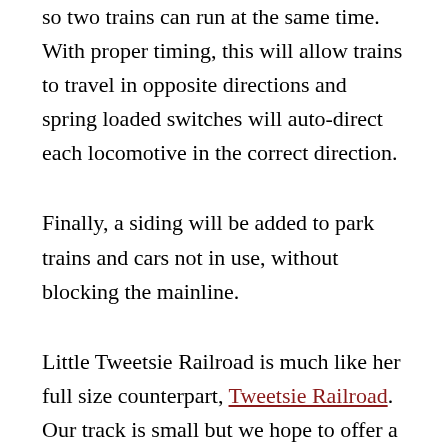so two trains can run at the same time. With proper timing, this will allow trains to travel in opposite directions and spring loaded switches will auto-direct each locomotive in the correct direction.
Finally, a siding will be added to park trains and cars not in use, without blocking the mainline.
Little Tweetsie Railroad is much like her full size counterpart, Tweetsie Railroad. Our track is small but we hope to offer a lot in a little package.
With an on-site cabin available from Banner Haven Bed and Breakfast, visitors have a place to stay, and the yard and fire pit make it a wonderful place to relax with your choice of sun or shade. A playground for smaller